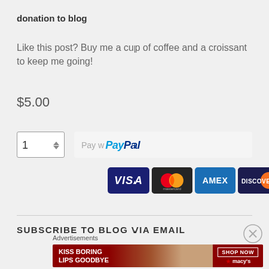donation to blog
Like this post? Buy me a cup of coffee and a croissant to keep me going!
$5.00
[Figure (screenshot): Quantity input box showing '1' with up/down arrows, followed by a PayPal payment button showing 'Pay w PayPal' text]
[Figure (screenshot): Row of payment card logos: VISA (dark blue), Mastercard (black with overlapping red and orange circles), AMEX (blue), DISCOVER (dark blue with orange accent)]
SUBSCRIBE TO BLOG VIA EMAIL
Advertisements
[Figure (photo): Ad banner for Macy's: red background with text 'KISS BORING LIPS GOODBYE', photo of woman, 'SHOP NOW' button, Macy's star logo]